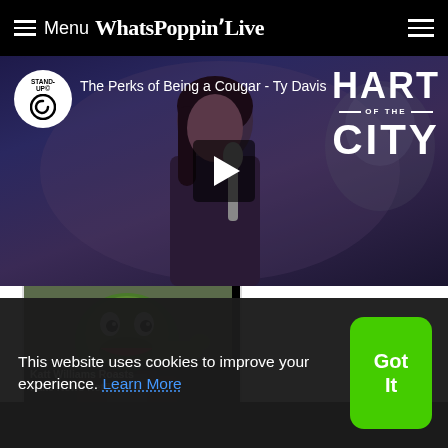Menu WhatsPoppinʼLive
[Figure (screenshot): Video thumbnail for 'The Perks of Being a Cougar - Ty Davis' Comedy Central Stand-Up special, Hart of the City. Shows a woman performing stand-up comedy with a microphone. Play button in center. Hart of the City logo on right.]
[Figure (photo): Thumbnail image for Katt Williams Roasts Fake News Netflix Is A... article, showing a green-masked figure.]
Katt Williams Roasts Fake News Netflix Is A
This website uses cookies to improve your experience. Learn More